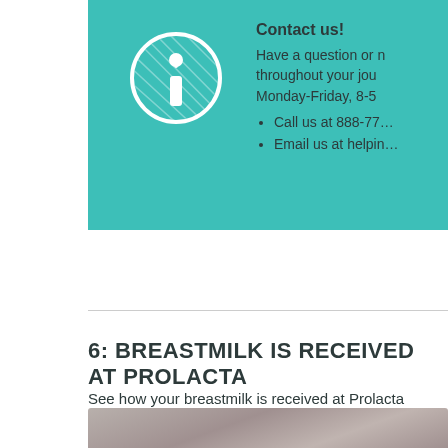[Figure (infographic): Teal/turquoise banner with a white circle info icon (letter i) on the left and contact information text on the right.]
Contact us! Have a question or need support throughout your journey? We're available Monday-Friday, 8-5 • Call us at 888-77... • Email us at helpin...
6: BREASTMILK IS RECEIVED AT PROLACTA
See how your breastmilk is received at Prolacta and processed to maintain high levels of important bioactivity for use in making nutrition for critically ill infants.
[Figure (photo): A blurred/out-of-focus photograph at the bottom of the page, visible only partially.]